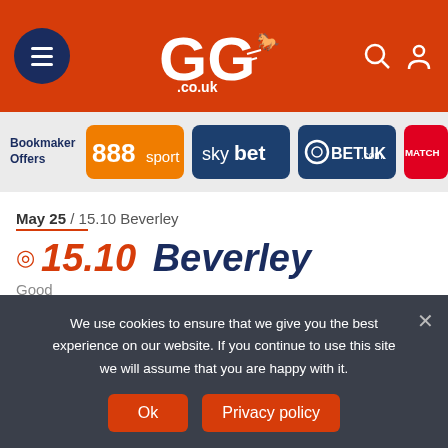GG.co.uk header with menu, logo, search and account icons
[Figure (logo): Bookmaker Offers logos: 888sport, sky bet, BETUK, MATCH (partial)]
May 25 / 15.10 Beverley
15.10 Beverley
Good
Queen's Platinum Jubilee Handicap
Prize money: £3820.82 ◆ 0m 7f 96y ◆ Class 5 ◆ 10 runners
We use cookies to ensure that we give you the best experience on our website. If you continue to use this site we will assume that you are happy with it.